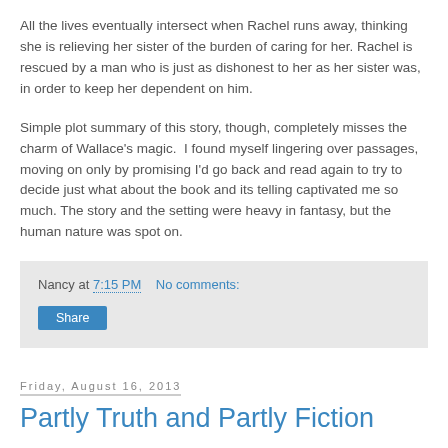All the lives eventually intersect when Rachel runs away, thinking she is relieving her sister of the burden of caring for her. Rachel is rescued by a man who is just as dishonest to her as her sister was, in order to keep her dependent on him.
Simple plot summary of this story, though, completely misses the charm of Wallace's magic.  I found myself lingering over passages, moving on only by promising I'd go back and read again to try to decide just what about the book and its telling captivated me so much. The story and the setting were heavy in fantasy, but the human nature was spot on.
Nancy at 7:15 PM    No comments:
Share
Friday, August 16, 2013
Partly Truth and Partly Fiction